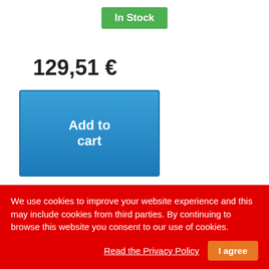In Stock
129,51 €
Add to cart
More
Add to Compare
We use cookies to improve your website experience and this may include cookies from third parties. By continuing to browse this website you consent to our use of cookies.
Read the Privacy Policy
I agree